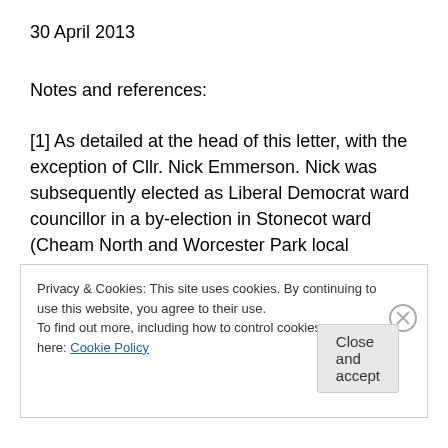30 April 2013
Notes and references:
[1] As detailed at the head of this letter, with the exception of Cllr. Nick Emmerson. Nick was subsequently elected as Liberal Democrat ward councillor in a by-election in Stonecot ward (Cheam North and Worcester Park local committee) in December 2012, following Brendan Hudson’s decision to stand down as Liberal Democrat ward councillor in November 2012. Welcome Nick.
Privacy & Cookies: This site uses cookies. By continuing to use this website, you agree to their use. To find out more, including how to control cookies, see here: Cookie Policy Close and accept